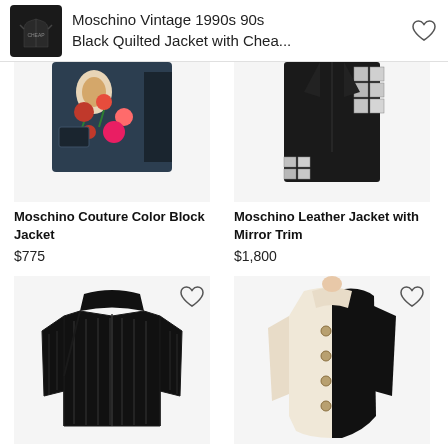Moschino Vintage 1990s 90s Black Quilted Jacket with Chea...
[Figure (photo): Partial top view of Moschino Couture Color Block Jacket with floral pattern]
Moschino Couture Color Block Jacket
$775
[Figure (photo): Partial top view of Moschino Leather Jacket with Mirror Trim]
Moschino Leather Jacket with Mirror Trim
$1,800
[Figure (photo): Moschino Wool Jacket with Leather Piping, black, full front view]
Moschino Wool Jacket with Leather Piping
$775
[Figure (photo): Moschino Color Block Coat, black and cream/white, full front view]
Moschino Color Block Coat
$1,200